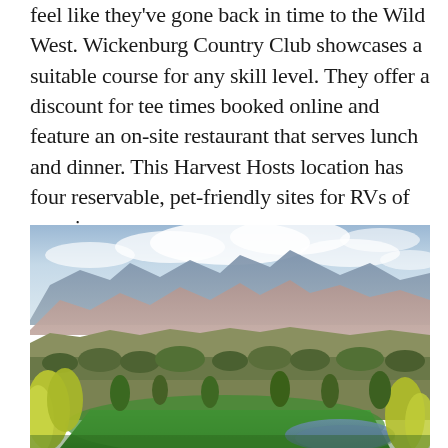feel like they've gone back in time to the Wild West. Wickenburg Country Club showcases a suitable course for any skill level. They offer a discount for tee times booked online and feature an on-site restaurant that serves lunch and dinner. This Harvest Hosts location has four reservable, pet-friendly sites for RVs of any size.
[Figure (photo): Landscape photograph of a desert golf course with a green fairway and pond in the foreground, desert scrub and trees in the middle ground, and rugged mountains under a partly cloudy sky in the background — likely Wickenburg Country Club in Arizona.]